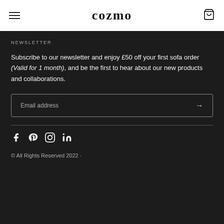cozmo
NEWSLETTER
Subscribe to our newsletter and enjoy £50 off your first sofa order (Valid for 1 month), and be the first to hear about our new products and collaborations.
Email address →
[Figure (other): Social media icons: Facebook, Pinterest, Instagram, LinkedIn]
© All Rights Reserved 2022 ·